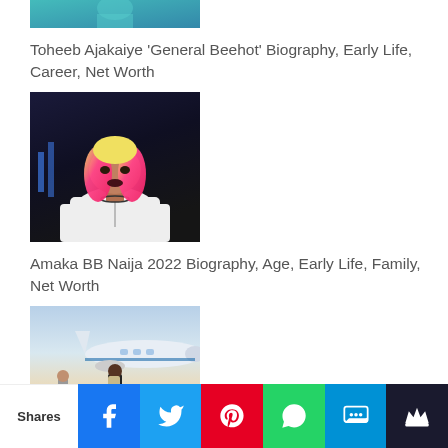[Figure (photo): Partial thumbnail image at top, person in teal/green clothing]
Toheeb Ajakaiye 'General Beehot' Biography, Early Life, Career, Net Worth
[Figure (photo): Woman with pink and blonde hair wearing white top, dark background]
Amaka BB Naija 2022 Biography, Age, Early Life, Family, Net Worth
[Figure (photo): Person standing near a private jet on an airport tarmac]
Davido Travels To The United States As He Finalizes Collabo Deal W...
Shares | Facebook | Twitter | Pinterest | WhatsApp | SMS | King